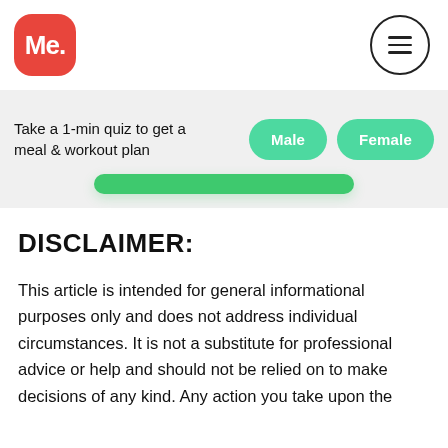Me. [logo] [hamburger menu]
Take a 1-min quiz to get a meal & workout plan
Male  Female
DISCLAIMER:
This article is intended for general informational purposes only and does not address individual circumstances. It is not a substitute for professional advice or help and should not be relied on to make decisions of any kind. Any action you take upon the